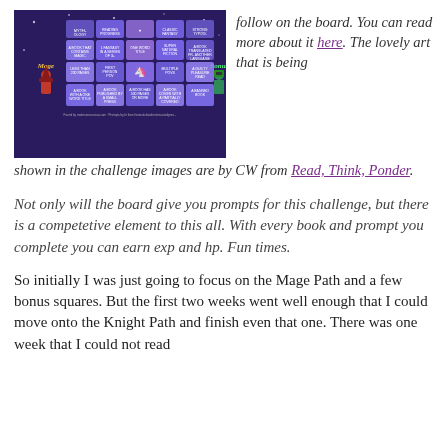[Figure (other): A bingo board game image with a dark purple background, featuring character art of a Mage and a Bonus character on the sides, with various reading challenge prompt squares in the grid.]
follow on the board. You can read more about it here. The lovely art that is being shown in the challenge images are by CW from Read, Think, Ponder.
Not only will the board give you prompts for this challenge, but there is a competetive element to this all. With every book and prompt you complete you can earn exp and hp. Fun times.
So initially I was just going to focus on the Mage Path and a few bonus squares. But the first two weeks went well enough that I could move onto the Knight Path and finish even that one. There was one week that I could not read